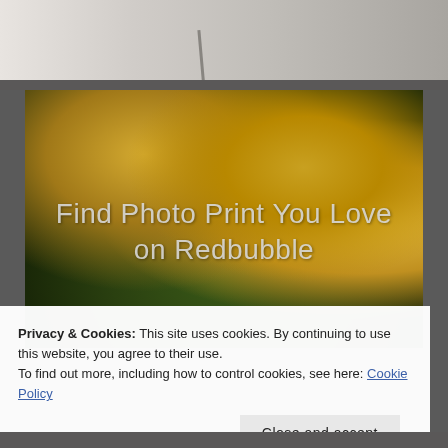[Figure (photo): Top strip showing partial photo with light gray/beige background, possibly art supplies]
[Figure (photo): Photo of colorful autumn leaves and moss on ground with overlay text 'Find Photo Print You Love on Redbubble']
Find Photo Print You Love on Redbubble
Privacy & Cookies: This site uses cookies. By continuing to use this website, you agree to their use.
To find out more, including how to control cookies, see here: Cookie Policy
Close and accept